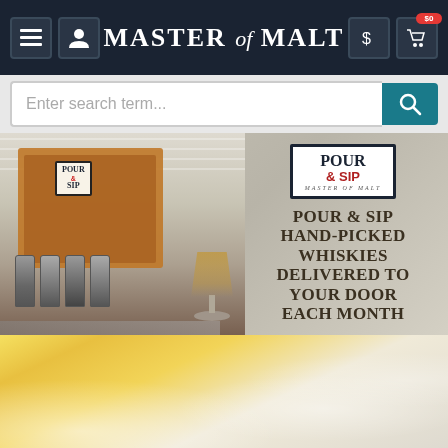[Figure (screenshot): Master of Malt website navigation bar with hamburger menu, user icon, logo, dollar sign and cart icons with $0 badge]
[Figure (screenshot): Search bar with placeholder text 'Enter search term...' and teal search button]
[Figure (photo): Pour & Sip product photo showing whisky sample bottles in a red travel case with a whisky glass, alongside Pour & Sip logo and text 'POUR & SIP HAND-PICKED WHISKIES DELIVERED TO YOUR DOOR EACH MONTH']
[Figure (photo): Partial bottom image showing a golden/yellow liquid in a glass with bokeh background]